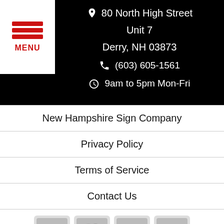[Figure (logo): Menu button with three red horizontal bars and MENU label on white background]
80 North High Street
Unit 7
Derry, NH 03873
(603) 605-1561
9am to 5pm Mon-Fri
New Hampshire Sign Company
Privacy Policy
Terms of Service
Contact Us
[Figure (other): Payment icons: Visa, Mastercard, Discover, American Express in gray]
Copyright © 2022 ProSource Signs, Inc.
Lead Generation by MarkMyWordsMedia